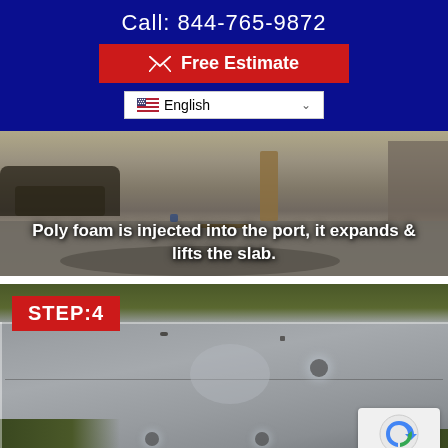Call: 844-765-9872
✉ Free Estimate
English
[Figure (photo): Workers injecting poly foam into a concrete slab on a sidewalk, with hoses and equipment visible. Text overlay reads: Poly foam is injected into the port, it expands & lifts the slab.]
[Figure (photo): Concrete sidewalk slabs after poly foam injection showing small injection port holes and lifted/leveled surface. Step 4 label in red.]